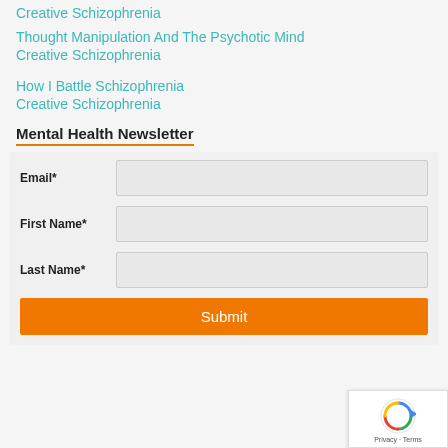Creative Schizophrenia
Thought Manipulation And The Psychotic Mind
Creative Schizophrenia
How I Battle Schizophrenia
Creative Schizophrenia
Mental Health Newsletter
Email*
First Name*
Last Name*
Submit